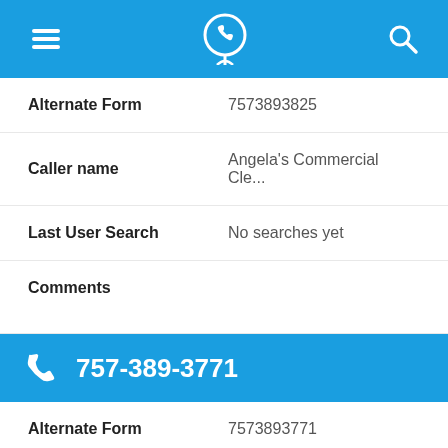Navigation header with menu, phone/location icon, and search icon
| Field | Value |
| --- | --- |
| Alternate Form | 7573893825 |
| Caller name | Angela's Commercial Cle... |
| Last User Search | No searches yet |
| Comments |  |
757-389-3771
| Field | Value |
| --- | --- |
| Alternate Form | 7573893771 |
| Caller name | Coast to Country Events |